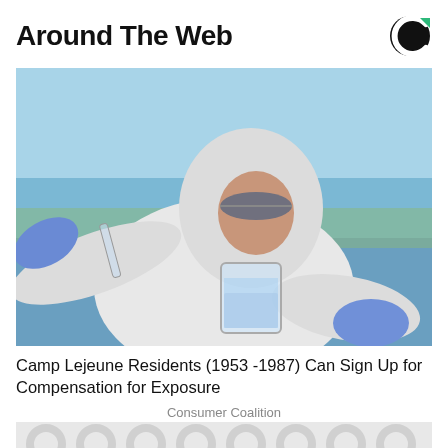Around The Web
[Figure (photo): Person in white protective hazmat suit and blue gloves holding a glass beaker/container of water and a pipette, outdoors near a body of water]
Camp Lejeune Residents (1953 -1987) Can Sign Up for Compensation for Exposure
Consumer Coalition
[Figure (photo): Partially visible second article thumbnail with a grey pattern/spinner graphic overlay]